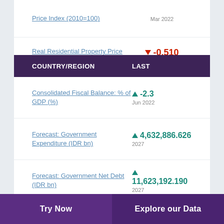Price Index (2010=100) — Mar 2022
Real Residential Property Price Index Growth (%) ▼ -0.510 Mar 2022
| COUNTRY/REGION | LAST |
| --- | --- |
| Consolidated Fiscal Balance: % of GDP (%) | ▲ -2.3
Jun 2022 |
| Forecast: Government Expenditure (IDR bn) | ▲ 4,632,886.626
2027 |
| Forecast: Government Net Debt (IDR bn) | ▲ 11,623,192.190
2027 |
Try Now
Explore our Data